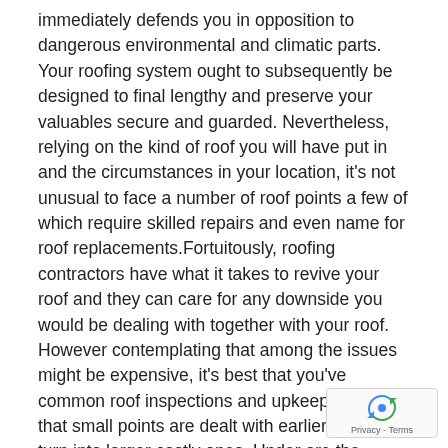immediately defends you in opposition to dangerous environmental and climatic parts. Your roofing system ought to subsequently be designed to final lengthy and preserve your valuables secure and guarded. Nevertheless, relying on the kind of roof you will have put in and the circumstances in your location, it's not unusual to face a number of roof points a few of which require skilled repairs and even name for roof replacements.Fortuitously, roofing contractors have what it takes to revive your roof and they can care for any downside you would be dealing with together with your roof. However contemplating that among the issues might be expensive, it's best that you've common roof inspections and upkeep in order that small points are dealt with earlier than they turn into larger costly ones. Under are the commonest roof points you would possibly face.
1. Shingle harm – The aesthetic roofing choice prote underlying buildings of the roof from the weather. However
[Figure (other): reCAPTCHA privacy badge — small widget in bottom-right corner showing recycling/refresh icon and 'Privacy - Terms' text]